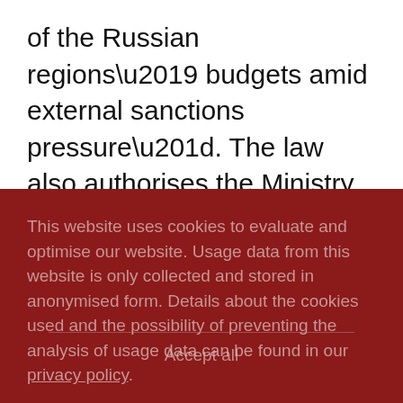of the Russian regions' budgets amid external sanctions pressure". The law also authorises the Ministry of Finance to allocate loans totalling 390.7 billion rubles from the federal budget in 2022, “so that Russian regions can repay their debts [to] credit institutions, foreign banks and international
This website uses cookies to evaluate and optimise our website. Usage data from this website is only collected and stored in anonymised form. Details about the cookies used and the possibility of preventing the analysis of usage data can be found in our privacy policy.
Accept all